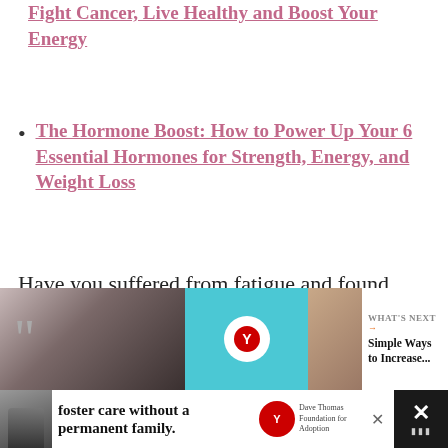Fight Cancer, Live Healthy and Boost Your Energy
The Hormone Boost: How to Power Up Your 6 Essential Hormones for Strength, Energy, and Weight Loss
Have you suffered from fatigue and found something that helped or are you still searching for help?
[Figure (screenshot): Advertisement banner with a black-and-white photo of a woman on the left with a quotation mark, teal center panel with logo, and 'WHAT'S NEXT' panel on the right showing 'Simple Ways to Increase...']
[Figure (screenshot): Bottom advertisement bar with dark background, photo of person with hat, foster care advertisement text 'foster care without a permanent family.' with Dave Thomas Foundation for Adoption logo, close button, and X symbol on the right]